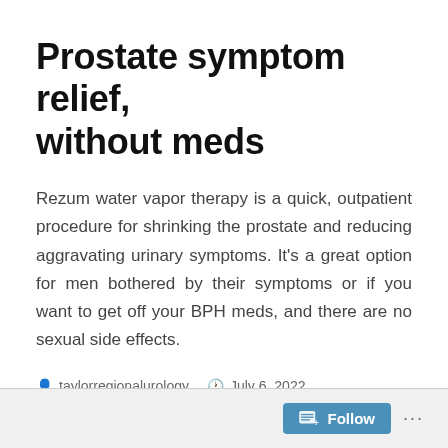Prostate symptom relief, without meds
Rezum water vapor therapy is a quick, outpatient procedure for shrinking the prostate and reducing aggravating urinary symptoms. It’s a great option for men bothered by their symptoms or if you want to get off your BPH meds, and there are no sexual side effects.
taylorregionalurology  July 6, 2022  Uncategorized  Leave a comment
Follow ...